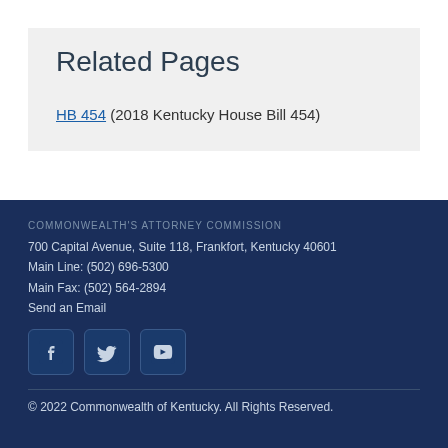Related Pages
HB 454 (2018 Kentucky House Bill 454)
700 Capital Avenue, Suite 118, Frankfort, Kentucky 40601
Main Line: (502) 696-5300
Main Fax: (502) 564-2894
Send an Email
[Figure (other): Social media icons: Facebook, Twitter, YouTube]
© 2022 Commonwealth of Kentucky. All Rights Reserved.